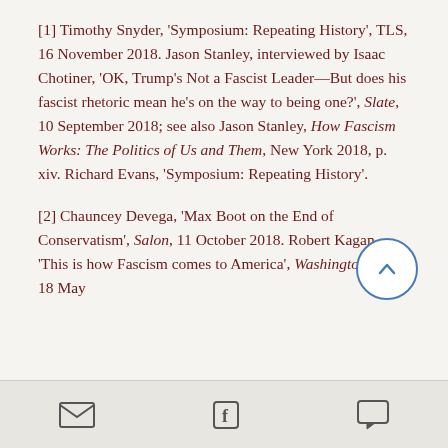[1] Timothy Snyder, ‘Symposium: Repeating History’, TLS, 16 November 2018. Jason Stanley, interviewed by Isaac Chotiner, ‘OK, Trump’s Not a Fascist Leader—But does his fascist rhetoric mean he’s on the way to being one?’, Slate, 10 September 2018; see also Jason Stanley, How Fascism Works: The Politics of Us and Them, New York 2018, p. xiv. Richard Evans, ‘Symposium: Repeating History’.
[2] Chauncey Devega, ‘Max Boot on the End of Conservatism’, Salon, 11 October 2018. Robert Kagan, ‘This is how Fascism comes to America’, Washington Post, 18 May
email | facebook | comment